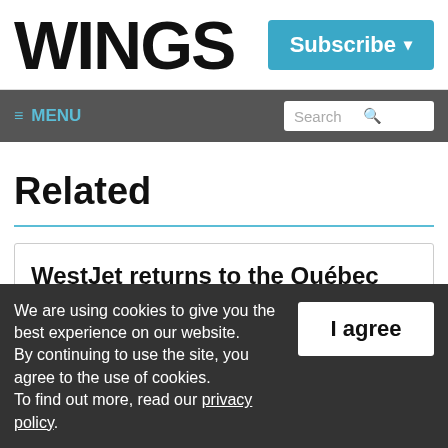WINGS
Subscribe ▾
≡ MENU   Search
Related
WestJet returns to the Québec Winter Carnival
We are using cookies to give you the best experience on our website.
By continuing to use the site, you agree to the use of cookies.
To find out more, read our privacy policy.